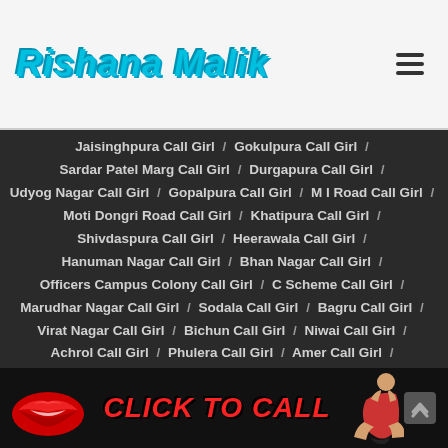Rishana Malik
Jaisinghpura Call Girl / Gokulpura Call Girl / Sardar Patel Marg Call Girl / Durgapura Call Girl / Udyog Nagar Call Girl / Gopalpura Call Girl / M I Road Call Girl / Moti Dongri Road Call Girl / Khatipura Call Girl / Shivdaspura Call Girl / Heerawala Call Girl / Hanuman Nagar Call Girl / Bhan Nagar Call Girl / Officers Campus Colony Call Girl / C Scheme Call Girl / Marudhar Nagar Call Girl / Sodala Call Girl / Bagru Call Girl / Virat Nagar Call Girl / Bichun Call Girl / Niwai Call Girl / Achrol Call Girl / Phulera Call Girl / Amer Call Girl / Saiwad Call Girl / Mansarovar Call Girl / Asalpur Call Girl / Mahapura Call Girl / Chaksu Call Girl / Mahal Road Call Girl / Sindhi Camp Call Girl / Sahakar Marg Call Girl / Patrakar Colony Call Girl / Shivranath Call Girl / Muralinura Call Girl
[Figure (infographic): CLICK TO CALL banner with red lips image and woman silhouette]